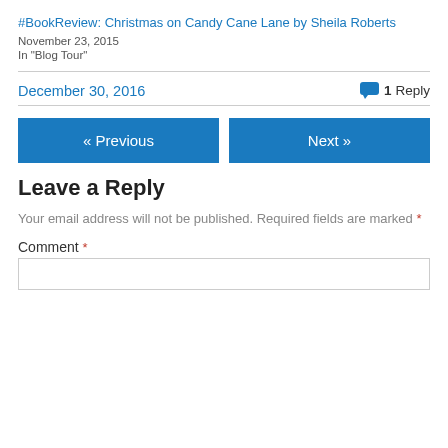#BookReview: Christmas on Candy Cane Lane by Sheila Roberts
November 23, 2015
In "Blog Tour"
December 30, 2016  💬 1 Reply
« Previous
Next »
Leave a Reply
Your email address will not be published. Required fields are marked *
Comment *